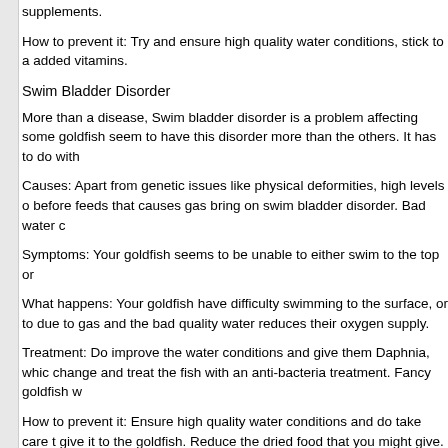supplements.
How to prevent it: Try and ensure high quality water conditions, stick to a added vitamins.
Swim Bladder Disorder
More than a disease, Swim bladder disorder is a problem affecting some goldfish seem to have this disorder more than the others. It has to do with
Causes: Apart from genetic issues like physical deformities, high levels o before feeds that causes gas bring on swim bladder disorder. Bad water c
Symptoms: Your goldfish seems to be unable to either swim to the top or
What happens: Your goldfish have difficulty swimming to the surface, or to due to gas and the bad quality water reduces their oxygen supply.
Treatment: Do improve the water conditions and give them Daphnia, whic change and treat the fish with an anti-bacteria treatment. Fancy goldfish w
How to prevent it: Ensure high quality water conditions and do take care t give it to the goldfish. Reduce the dried food that you might give.
Dane Stanton - www.goldfish-secrets.com
Dane Stanton is an expert on goldfish health care. To visit his website visi on Goldfish care and other aquarium related topics. *Recommended*
[Figure (photo): Partially visible image at bottom of page, appears to be a building or structure]